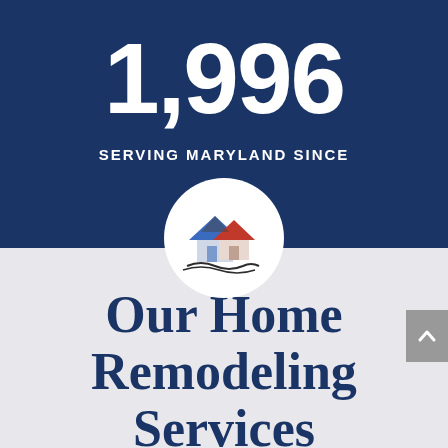1,996
SERVING MARYLAND SINCE
[Figure (logo): Home remodeling company logo showing two houses with blue and red roofs and wavy lines beneath, inside a white circle]
Our Home Remodeling Services